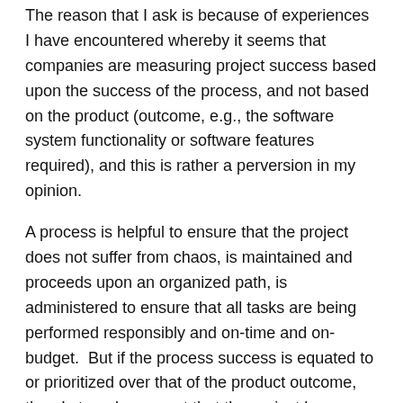The reason that I ask is because of experiences I have encountered whereby it seems that companies are measuring project success based upon the success of the process, and not based on the product (outcome, e.g., the software system functionality or software features required), and this is rather a perversion in my opinion.
A process is helpful to ensure that the project does not suffer from chaos, is maintained and proceeds upon an organized path, is administered to ensure that all tasks are being performed responsibly and on-time and on-budget. But if the process success is equated to or prioritized over that of the product outcome, then I strongly suggest that the project has gone off-track and needs to be re-examined.
Because as important as it is to acknowledge how one gets to the end, sometimes, oftentimes, and as long as nothing illegal or unethical has occurred, the destination is more important than the journey.